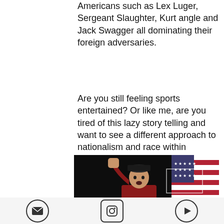Americans such as Lex Luger, Sergeant Slaughter, Kurt angle and Jack Swagger all dominating their foreign adversaries.
Are you still feeling sports entertained? Or like me, are you tired of this lazy story telling and want to see a different approach to nationalism and race within wrestling.
[Figure (photo): A wrestler in a red jacket and military-style cap raises his fist with mouth open, performing in front of an American flag on a dark stage.]
Email icon | Instagram icon | YouTube/Play icon